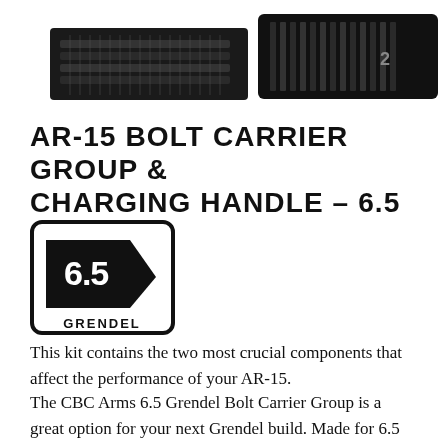[Figure (photo): Two close-up photos of an AR-15 bolt carrier group and charging handle components, shown against a white background. Left image shows a long rectangular component, right image shows a cylindrical textured component.]
AR-15 BOLT CARRIER GROUP & CHARGING HANDLE – 6.5 GRENDEL
[Figure (logo): 6.5 Grendel badge logo: a black rounded-rectangle border enclosing a bullet/chevron shape pointing right with '6.5' in white text, and 'GRENDEL' in bold black text below.]
This kit contains the two most crucial components that affect the performance of your AR-15.
The CBC Arms 6.5 Grendel Bolt Carrier Group is a great option for your next Grendel build. Made for 6.5 Grendel caliber, this BCG is machined to strict military standards. State of the art magnetic particle testing ensures the